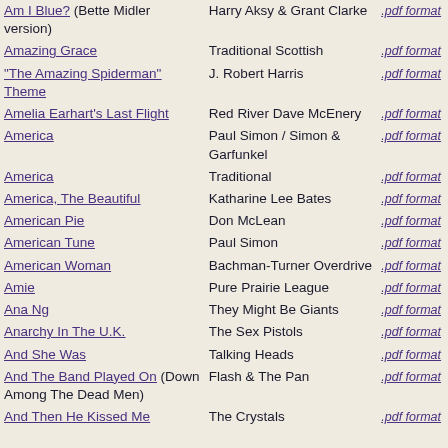| Song | Artist | Format |
| --- | --- | --- |
| Am I Blue? (Bette Midler version) | Harry Aksy & Grant Clarke | .pdf format |
| Amazing Grace | Traditional Scottish | .pdf format |
| "The Amazing Spiderman" Theme | J. Robert Harris | .pdf format |
| Amelia Earhart's Last Flight | Red River Dave McEnery | .pdf format |
| America | Paul Simon / Simon & Garfunkel | .pdf format |
| America | Traditional | .pdf format |
| America, The Beautiful | Katharine Lee Bates | .pdf format |
| American Pie | Don McLean | .pdf format |
| American Tune | Paul Simon | .pdf format |
| American Woman | Bachman-Turner Overdrive | .pdf format |
| Amie | Pure Prairie League | .pdf format |
| Ana Ng | They Might Be Giants | .pdf format |
| Anarchy In The U.K. | The Sex Pistols | .pdf format |
| And She Was | Talking Heads | .pdf format |
| And The Band Played On (Down Among The Dead Men) | Flash & The Pan | .pdf format |
| And Then He Kissed Me | The Crystals | .pdf format |